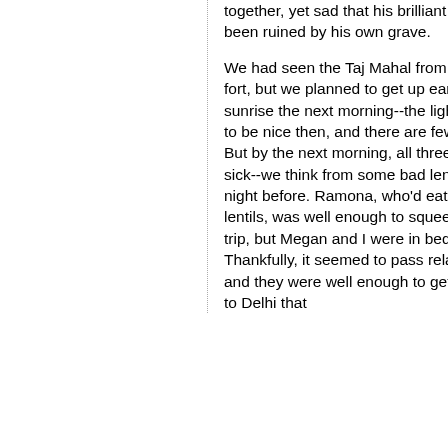together, yet sad that his brilliant design has been ruined by his own grave.
We had seen the Taj Mahal from afar from the fort, but we planned to get up early to visit it at sunrise the next morning--the light is supposed to be nice then, and there are fewer people. But by the next morning, all three of us were sick--we think from some bad lentils we had the night before. Ramona, who'd eaten less of the lentils, was well enough to squeeze in a quick trip, but Megan and I were in bed all day. Thankfully, it seemed to pass relatively quickly, and they were well enough to get on their train to Delhi that